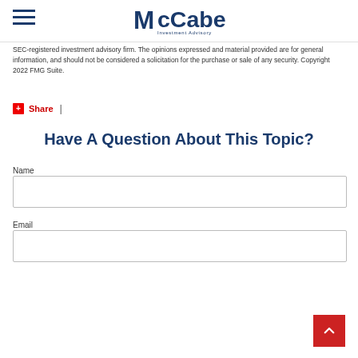McCabe Investment Advisory
SEC-registered investment advisory firm. The opinions expressed and material provided are for general information, and should not be considered a solicitation for the purchase or sale of any security. Copyright 2022 FMG Suite.
Share |
Have A Question About This Topic?
Name
Email